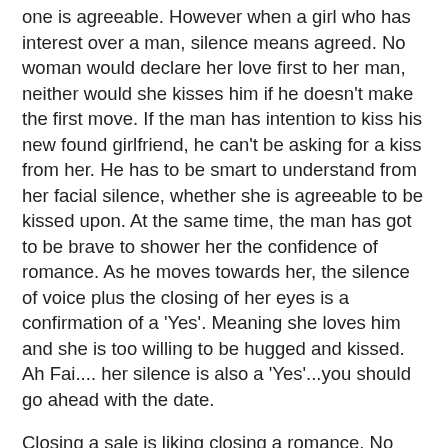one is agreeable. However when a girl who has interest over a man, silence means agreed. No woman would declare her love first to her man, neither would she kisses him if he doesn't make the first move. If the man has intention to kiss his new found girlfriend, he can't be asking for a kiss from her. He has to be smart to understand from her facial silence, whether she is agreeable to be kissed upon. At the same time, the man has got to be brave to shower her the confidence of romance. As he moves towards her, the silence of voice plus the closing of her eyes is a confirmation of a 'Yes'. Meaning she loves him and she is too willing to be hugged and kissed. Ah Fai.... her silence is also a 'Yes'...you should go ahead with the date.
Closing a sale is liking closing a romance. No prospect will reveal his true intention of buying a product or services. An experience salesperson observes the emotion of his prospect from his eyes and words. His silence doesn't mean is a 'No' but just that he has the pride not to say it as 'Yes'. So! Gently and softly, we have to treat him like closing a girl and encouraging her onto bed. So the next time when you got a 'No' on any occassion, think first before you accept it.